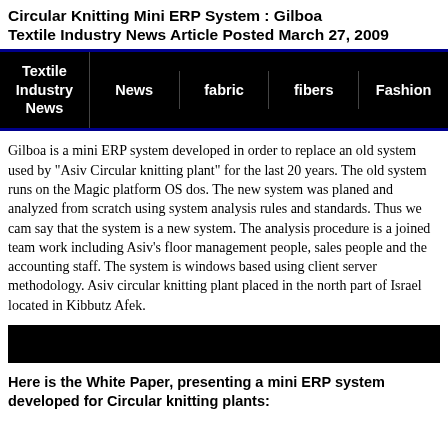Circular Knitting Mini ERP System : Gilboa Textile Industry News Article Posted March 27, 2009
| Textile Industry News | News | fabric | fibers | Fashion |
| --- | --- | --- | --- | --- |
Gilboa is a mini ERP system developed in order to replace an old system used by "Asiv Circular knitting plant" for the last 20 years. The old system runs on the Magic platform OS dos. The new system was planed and analyzed from scratch using system analysis rules and standards. Thus we cam say that the system is a new system. The analysis procedure is a joined team work including Asiv's floor management people, sales people and the accounting staff. The system is windows based using client server methodology. Asiv circular knitting plant placed in the north part of Israel located in Kibbutz Afek.
[Figure (other): Black bar / banner element]
Here is the White Paper, presenting a mini ERP system developed for Circular knitting plants: